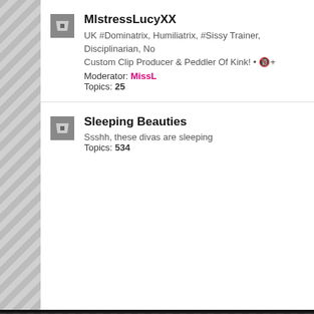MlstressLucyXX — UK #Dominatrix, Humiliatrix, #Sissy Trainer, Disciplinarian, No Custom Clip Producer & Peddler Of Kink! • 🔞+ Moderator: MissL Topics: 25
Sleeping Beauties — Ssshh, these divas are sleeping Topics: 534
Active topics
Glovely Suggestions — Last post by surgmask « Wed Nov 03, 2021 8:59 pm Replies: 18
2021 Contacts & Places to find me — Last post by Carrie Karkus « Wed Feb 17, 2021 1:38 pm Replies: 3
Selling part of my Fetish Stuff — Last post by italiglover « Fri Mar 22, 2019 11:45 am Replies: 7